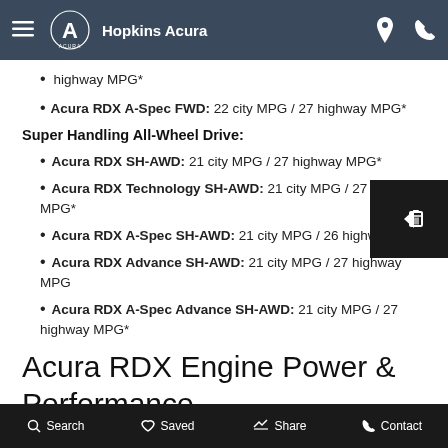Hopkins Acura
highway MPG*
Super Handling All-Wheel Drive:
Acura RDX SH-AWD: 21 city MPG / 27 highway MPG*
Acura RDX Technology SH-AWD: 21 city MPG / 27 highway MPG*
Acura RDX A-Spec SH-AWD: 21 city MPG / 26 highway MPG*
Acura RDX Advance SH-AWD: 21 city MPG / 27 highway MPG
Acura RDX A-Spec Advance SH-AWD: 21 city MPG / 27 highway MPG*
Acura RDX Engine Power & Performance
The stellar Acura RDX fuel efficiency is largely due to its powerful 2.0L 16-Valve DOHC VTEC® turbo engine. Standard across the entire RDX